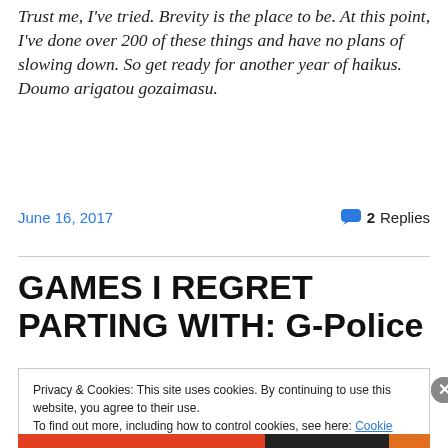Trust me, I've tried. Brevity is the place to be. At this point, I've done over 200 of these things and have no plans of slowing down. So get ready for another year of haikus. Doumo arigatou gozaimasu.
June 16, 2017
2 Replies
GAMES I REGRET PARTING WITH: G-Police
Privacy & Cookies: This site uses cookies. By continuing to use this website, you agree to their use.
To find out more, including how to control cookies, see here: Cookie Policy